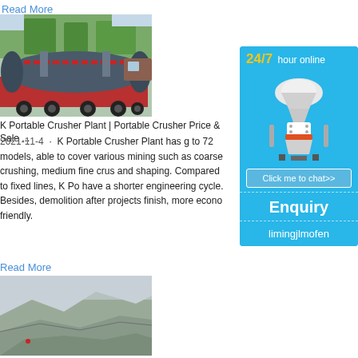Read More
[Figure (photo): Industrial ball mill machinery loaded on a red flatbed truck, outdoors with trees and vehicles in background]
K Portable Crusher Plant | Portable Crusher Price & Sale ...
2021-11-4 · K Portable Crusher Plant has g to 72 models, able to cover various mining such as coarse crushing, medium fine crus and shaping. Compared to fixed lines, K Po have a shorter engineering cycle. Besides, demolition after projects finish, more econo friendly.
Read More
[Figure (photo): Aerial or elevated view of a large open-pit mine on a hillside with terraced levels]
[Figure (infographic): Sidebar advertisement widget: 24/7 hour online with cone crusher machine image, Click me to chat>> button, Enquiry section, and limingjlmofen branding on blue background]